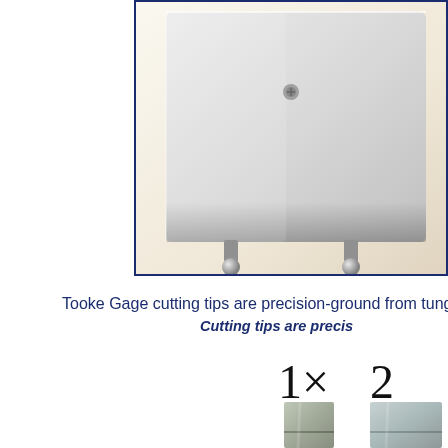[Figure (photo): Close-up photograph of a Tooke Gage device showing the bottom portion with two ball-bearing contact feet, on a warm light background. Dark navy border frame around the photo.]
Tooke Gage cutting tips are precision-ground from tungsten
Cutting tips are precis
[Figure (photo): Two tungsten carbide cutting tips shown side by side labeled 1x and 2x, showing different sizes of precision-ground cutting tips for the Tooke Gage.]